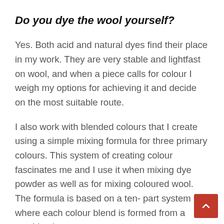Do you dye the wool yourself?
Yes. Both acid and natural dyes find their place in my work. They are very stable and lightfast on wool, and when a piece calls for colour I weigh my options for achieving it and decide on the most suitable route.
I also work with blended colours that I create using a simple mixing formula for three primary colours. This system of creating colour fascinates me and I use it when mixing dye powder as well as for mixing coloured wool. The formula is based on a ten- part system where each colour blend is formed from a combination